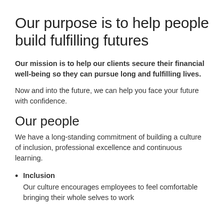Our purpose is to help people build fulfilling futures
Our mission is to help our clients secure their financial well-being so they can pursue long and fulfilling lives.
Now and into the future, we can help you face your future with confidence.
Our people
We have a long-standing commitment of building a culture of inclusion, professional excellence and continuous learning.
Inclusion
Our culture encourages employees to feel comfortable bringing their whole selves to work